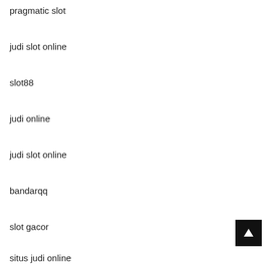pragmatic slot
judi slot online
slot88
judi online
judi slot online
bandarqq
slot gacor
situs judi online